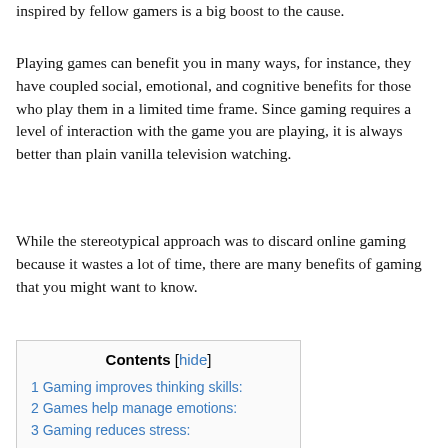inspired by fellow gamers is a big boost to the cause.
Playing games can benefit you in many ways, for instance, they have coupled social, emotional, and cognitive benefits for those who play them in a limited time frame. Since gaming requires a level of interaction with the game you are playing, it is always better than plain vanilla television watching.
While the stereotypical approach was to discard online gaming because it wastes a lot of time, there are many benefits of gaming that you might want to know.
| Contents [hide] |
| 1 Gaming improves thinking skills: |
| 2 Games help manage emotions: |
| 3 Gaming reduces stress: |